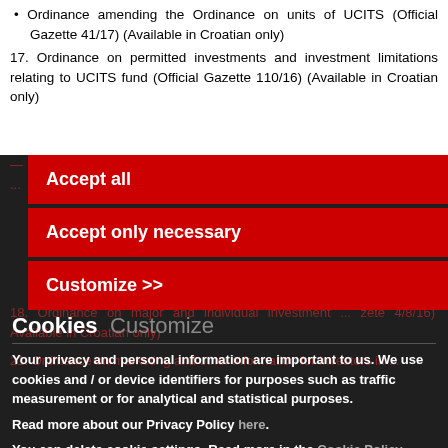Ordinance amending the Ordinance on units of UCITS (Official Gazette 41/17) (Available in Croatian only)
17. Ordinance on permitted investments and investment limitations relating to UCITS fund (Official Gazette 110/16) (Available in Croatian only)
18. Ordinance on ... UCITS in and... (Available in Croatian only)
19. Ordinance on... companies (O...
Accept all
Accept only necessary
Customize >>
Cookies  Customize
Your privacy and personal information are important to us. We use cookies and / or device identifiers for purposes such as traffic measurement or for analytical and statistical purposes.
Read more about our Privacy Policy here.
You can delete cookie settings. Read more in the Cookie Policy.
You can change your choices at any time by returning to this website.